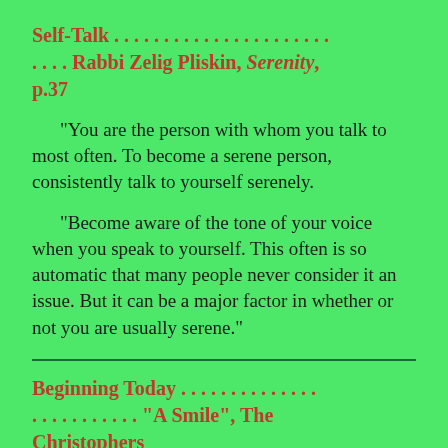Self-Talk . . . . . . . . . . . . . . . . . . . . . . . . . . . Rabbi Zelig Pliskin, Serenity, p.37
"You are the person with whom you talk to most often. To become a serene person, consistently talk to yourself serenely.
"Become aware of the tone of your voice when you speak to yourself. This often is so automatic that many people never consider it an issue. But it can be a major factor in whether or not you are usually serene."
Beginning Today . . . . . . . . . . . . . . . . . . . . . . . . . . . "A Smile", The Christophers